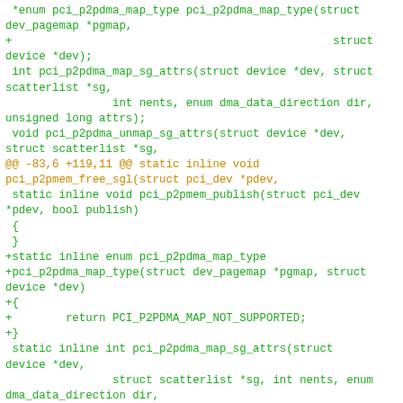Code diff showing pci_p2pdma_map_type and related functions, with diff hunk header @@ -83,6 +119,11 @@ static inline void pci_p2pmem_free_sgl(struct pci_dev *pdev, and additions of static inline enum pci_p2pdma_map_type function returning PCI_P2PDMA_MAP_NOT_SUPPORTED
--
2.20.1